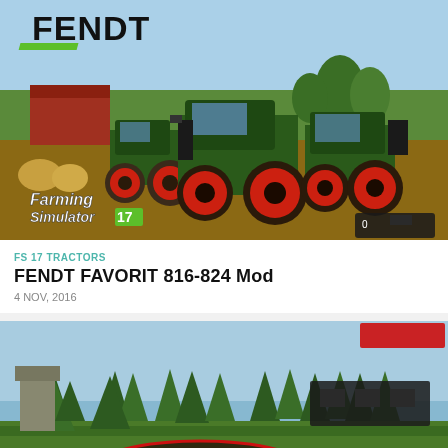[Figure (screenshot): Screenshot from Farming Simulator 17 video game showing three green Fendt tractors with red wheels on a farm dirt area. The FENDT logo with green diagonal stripes is visible in the top-left corner. 'Farming Simulator 17' text is shown in the bottom-left of the game screenshot.]
FS 17 TRACTORS
FENDT FAVORIT 816-824 Mod
4 NOV, 2016
[Figure (screenshot): Partial screenshot from a farming simulator game showing a green landscape with tall pine trees and a red oval circle drawn on the ground, seemingly highlighting or annotating a specific area. A dark structure is visible in the upper right area.]